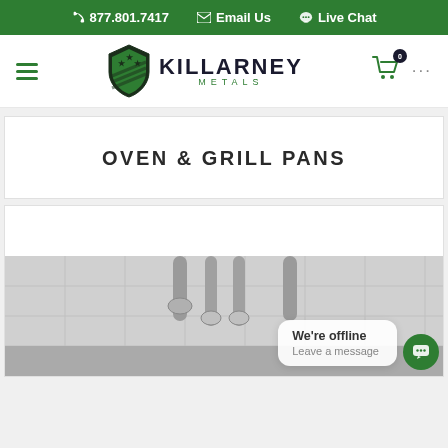877.801.7417  Email Us  Live Chat
[Figure (logo): Killarney Metals logo with shield icon containing stars and stripes, brand name KILLARNEY METALS]
OVEN & GRILL PANS
[Figure (photo): Grayscale photo of stainless steel kitchen sink faucet fixtures against a tiled wall background]
We're offline
Leave a message